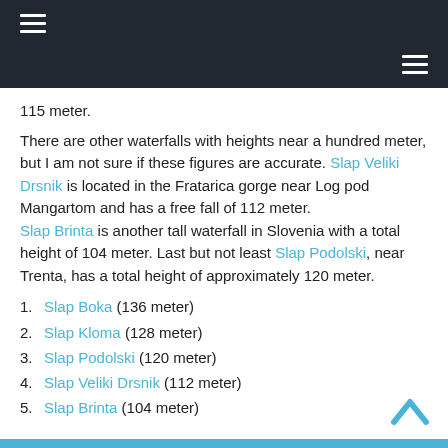navigation header bar with hamburger menus
115 meter.
There are other waterfalls with heights near a hundred meter, but I am not sure if these figures are accurate. Slap Veliki Drsnik is located in the Fratarica gorge near Log pod Mangartom and has a free fall of 112 meter. Slap Brinta is another tall waterfall in Slovenia with a total height of 104 meter. Last but not least Slap Podolski, near Trenta, has a total height of approximately 120 meter.
1. Slap Boka (136 meter)
2. Slap Kloma (128 meter)
3. Slap Podolski (120 meter)
4. Slap Veliki Drsnik (112 meter)
5. Slap Brinta (104 meter)
blue footer bar